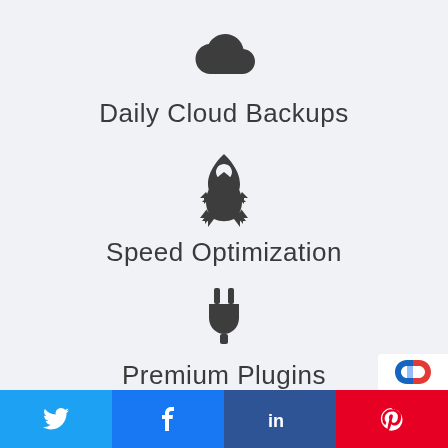[Figure (illustration): Dark gray cloud icon]
Daily Cloud Backups
[Figure (illustration): Dark gray rocket icon]
Speed Optimization
[Figure (illustration): Dark gray plug/power icon]
Premium Plugins
[Figure (illustration): Dark gray spy/detective person icon]
[Figure (illustration): reCAPTCHA badge partially visible]
Twitter share | Facebook share | LinkedIn share | Pinterest share